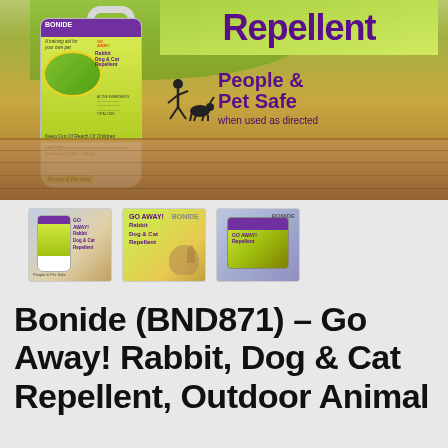[Figure (photo): Main product image showing a large white jug/bottle of Bonide Go Away! Rabbit, Dog & Cat Repellent on a wooden surface background. The bottle has a yellow-green label with purple text. Right side shows 'Repellent' in purple text and 'People & Pet Safe when used as directed' with a stick figure icon. The label states 'A training aid for your own pet' and 'People & Pet Safe'.]
[Figure (photo): Three thumbnail images of the same product shown from different angles: left thumbnail shows full bottle front view, middle thumbnail shows bottle with rabbits/cats imagery, right thumbnail shows a close-up or different angle of the product.]
Bonide (BND871) – Go Away! Rabbit, Dog & Cat Repellent, Outdoor Animal